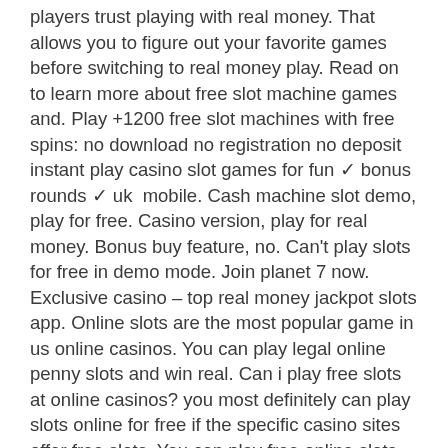players trust playing with real money. That allows you to figure out your favorite games before switching to real money play. Read on to learn more about free slot machine games and. Play +1200 free slot machines with free spins: no download no registration no deposit instant play casino slot games for fun ✓ bonus rounds ✓ uk  mobile. Cash machine slot demo, play for free. Casino version, play for real money. Bonus buy feature, no. Can't play slots for free in demo mode. Join planet 7 now. Exclusive casino – top real money jackpot slots app. Online slots are the most popular game in us online casinos. You can play legal online penny slots and win real. Can i play free slots at online casinos? you most definitely can play slots online for free if the specific casino sites offer free slots. You can play free online slots or those meant for real money. As a beginner, there are several things you should know before playing them. To understand your own slots conditions